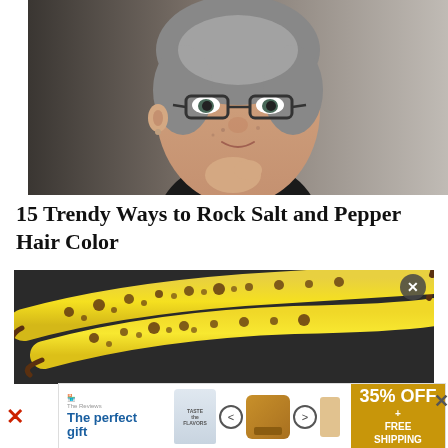[Figure (photo): Close-up portrait of a middle-aged woman with short salt-and-pepper hair, wearing glasses and a black top, hands clasped near chin, against a gray background]
15 Trendy Ways to Rock Salt and Pepper Hair Color
[Figure (photo): Two ripe bananas with brown spots on a dark gray background]
[Figure (infographic): Advertisement banner reading 'The perfect gift' with product carousel showing a glass tumbler with text, navigation arrows, a bowl on wooden base, and a gold section reading '35% OFF + FREE SHIPPING']